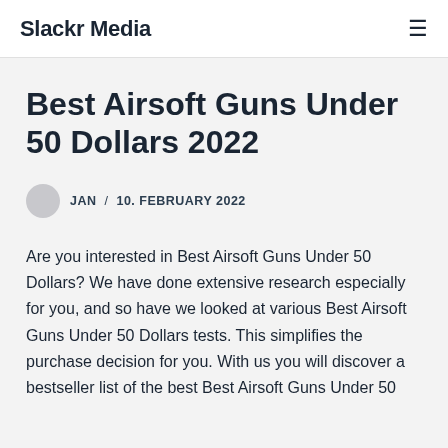Slackr Media
Best Airsoft Guns Under 50 Dollars 2022
JAN / 10. FEBRUARY 2022
Are you interested in Best Airsoft Guns Under 50 Dollars? We have done extensive research especially for you, and so have we looked at various Best Airsoft Guns Under 50 Dollars tests. This simplifies the purchase decision for you. With us you will discover a bestseller list of the best Best Airsoft Guns Under 50